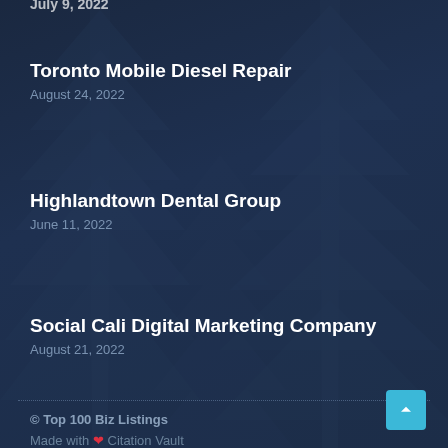Toronto Mobile Diesel Repair
August 24, 2022
Highlandtown Dental Group
June 11, 2022
Social Cali Digital Marketing Company
August 21, 2022
© Top 100 Biz Listings
Made with ❤ Citation Vault